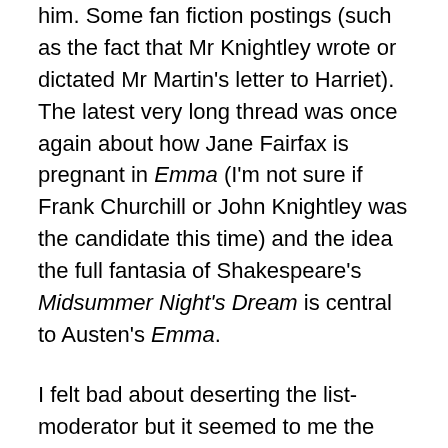him. Some fan fiction postings (such as the fact that Mr Knightley wrote or dictated Mr Martin's letter to Harriet). The latest very long thread was once again about how Jane Fairfax is pregnant in Emma (I'm not sure if Frank Churchill or John Knightley was the candidate this time) and the idea the full fantasia of Shakespeare's Midsummer Night's Dream is central to Austen's Emma.
I felt bad about deserting the list-moderator but it seemed to me the latest series went beyond previous in a tone of triumph and enjoyment which suggested one motive was to show contempt for the purpose of the listserv (and mockery of the helpless membership), which disdain and exultation the moderator (in effect) replied to by writing (as she has so many times before) with the purpose of the list:  its terrain was to read Jane Austen's actual texts, discuss them, her era, and her real life. She has said also